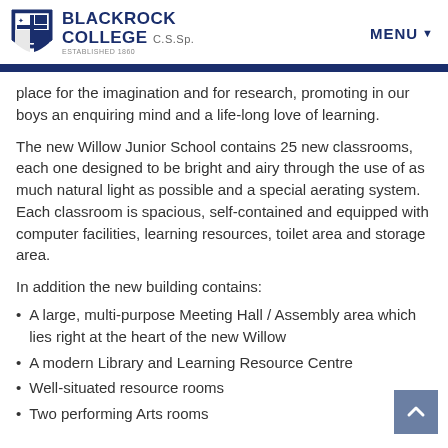BLACKROCK COLLEGE C.S.Sp. ESTABLISHED 1860 | MENU
place for the imagination and for research, promoting in our boys an enquiring mind and a life-long love of learning.
The new Willow Junior School contains 25 new classrooms, each one designed to be bright and airy through the use of as much natural light as possible and a special aerating system. Each classroom is spacious, self-contained and equipped with computer facilities, learning resources, toilet area and storage area.
In addition the new building contains:
A large, multi-purpose Meeting Hall / Assembly area which lies right at the heart of the new Willow
A modern Library and Learning Resource Centre
Well-situated resource rooms
Two performing Arts rooms